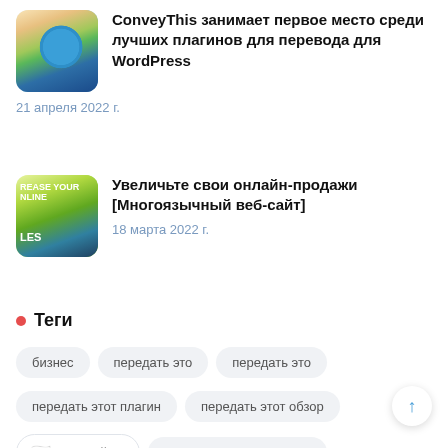[Figure (illustration): Thumbnail image for article about ConveyThis WordPress plugin, showing globe with translation icons]
ConveyThis занимает первое место среди лучших плагинов для перевода для WordPress
21 апреля 2022 г.
[Figure (illustration): Thumbnail image for article about increasing online sales with multilingual website, showing text REASE YOUR NLINE LES]
Увеличьте свои онлайн-продажи [Многоязычный веб-сайт]
18 марта 2022 г.
Теги
бизнес
передать это
передать это
передать этот плагин
передать этот обзор
Русский
электронная коммерция